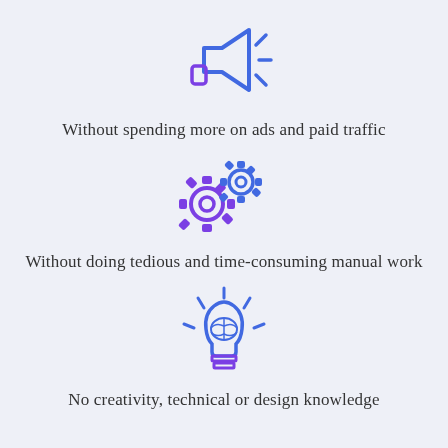[Figure (illustration): Blue and purple megaphone/bullhorn icon with lines indicating sound]
Without spending more on ads and paid traffic
[Figure (illustration): Blue and purple interlocking gears/cogs icon]
Without doing tedious and time-consuming manual work
[Figure (illustration): Blue lightbulb with brain inside and rays, purple base]
No creativity, technical or design knowledge